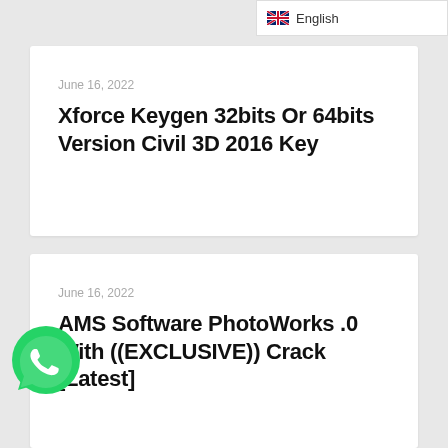English
June 16, 2022
Xforce Keygen 32bits Or 64bits Version Civil 3D 2016 Key
June 16, 2022
AMS Software PhotoWorks .0 With ((EXCLUSIVE)) Crack [Latest]
[Figure (logo): WhatsApp green phone icon]